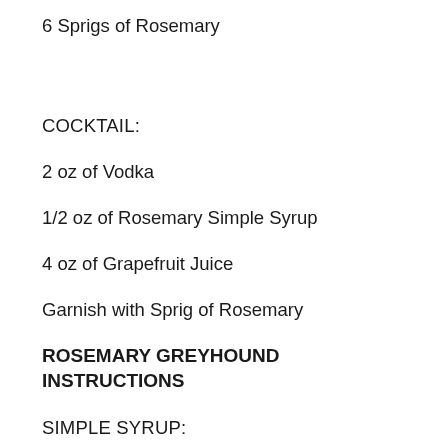6 Sprigs of Rosemary
COCKTAIL:
2 oz of Vodka
1/2 oz of Rosemary Simple Syrup
4 oz of Grapefruit Juice
Garnish with Sprig of Rosemary
ROSEMARY GREYHOUND INSTRUCTIONS
SIMPLE SYRUP:
In a small sauce pan over medium low heat, dissolve